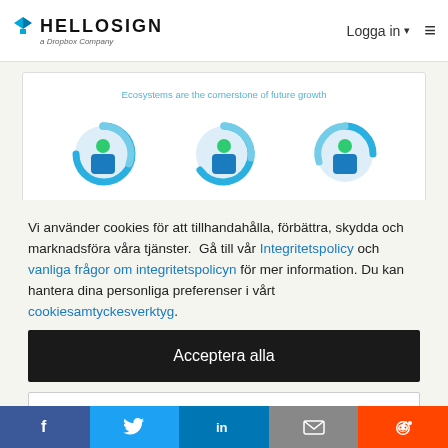HELLOSIGN a Dropbox Company — Logga in ≡
[Figure (infographic): Partial view of a card with title 'Ecosystems are the cornerstone of future growth' and three donut/gauge chart icons with person figures]
Vi använder cookies för att tillhandahålla, förbättra, skydda och marknadsföra våra tjänster. Gå till vår Integritetspolicy och vanliga frågor om integritetspolicyn för mer information. Du kan hantera dina personliga preferenser i vårt cookiesamtyckesverktyg.
Acceptera alla
Avvisa
f  🐦  in  ✉  👽